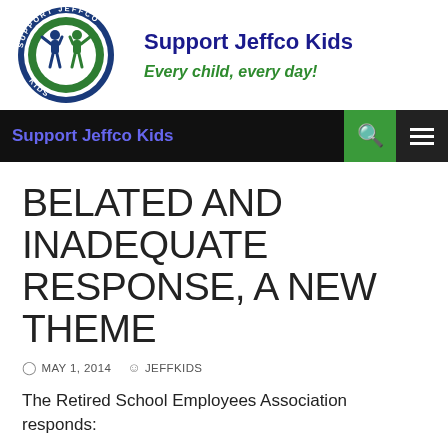[Figure (logo): Support Jeffco Kids circular logo with two figures and text around the border in blue and green]
Support Jeffco Kids
Every child, every day!
Support Jeffco Kids
BELATED AND INADEQUATE RESPONSE, A NEW THEME
MAY 1, 2014   JEFFKIDS
The Retired School Employees Association responds: